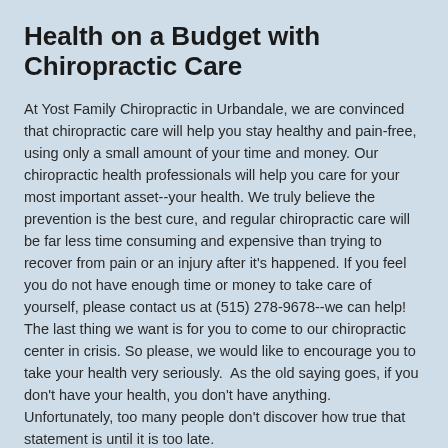Health on a Budget with Chiropractic Care
At Yost Family Chiropractic in Urbandale, we are convinced that chiropractic care will help you stay healthy and pain-free, using only a small amount of your time and money. Our chiropractic health professionals will help you care for your most important asset--your health. We truly believe the prevention is the best cure, and regular chiropractic care will be far less time consuming and expensive than trying to recover from pain or an injury after it's happened. If you feel you do not have enough time or money to take care of yourself, please contact us at (515) 278-9678--we can help! The last thing we want is for you to come to our chiropractic center in crisis. So please, we would like to encourage you to take your health very seriously. As the old saying goes, if you don't have your health, you don't have anything. Unfortunately, too many people don't discover how true that statement is until it is too late.